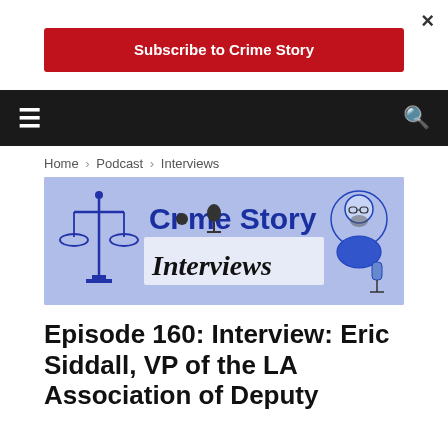×
Subscribe to Crime Story
[Figure (screenshot): Crime Story Interviews banner with illustrated scales of justice, microphone, and man with beard]
Home › Podcast › Interviews
Episode 160: Interview: Eric Siddall, VP of the LA Association of Deputy